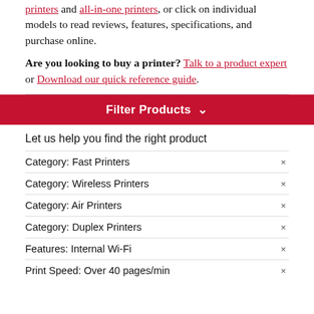printers and all-in-one printers, or click on individual models to read reviews, features, specifications, and purchase online.
Are you looking to buy a printer? Talk to a product expert or Download our quick reference guide.
Filter Products ∨
Let us help you find the right product
Category: Fast Printers ×
Category: Wireless Printers ×
Category: Air Printers ×
Category: Duplex Printers ×
Features: Internal Wi-Fi ×
Print Speed: Over 40 pages/min ×